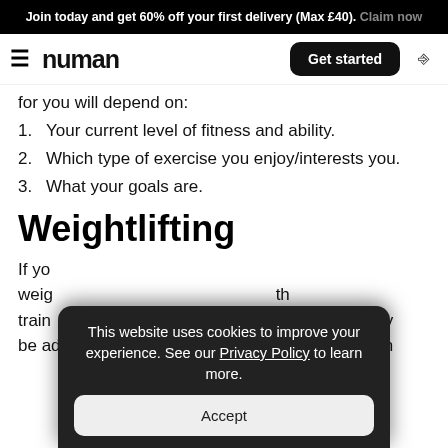Join today and get 60% off your first delivery (Max £40). Claim now
numan — Get started
for you will depend on:
1. Your current level of fitness and ability.
2. Which type of exercise you enjoy/interests you.
3. What your goals are.
Weightlifting
If yo... weig... train... be adjusted to your current level of strength. Even
This website uses cookies to improve your experience. See our Privacy Policy to learn more.
Accept